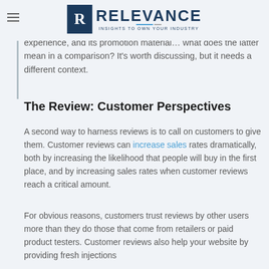RELEVANCE — INSIGHTS TO OWN YOUR INDUSTRY
experience, and its promotion material… what does the latter mean in a comparison? It's worth discussing, but it needs a different context.
The Review: Customer Perspectives
A second way to harness reviews is to call on customers to give them. Customer reviews can increase sales rates dramatically, both by increasing the likelihood that people will buy in the first place, and by increasing sales rates when customer reviews reach a critical amount.
For obvious reasons, customers trust reviews by other users more than they do those that come from retailers or paid product testers. Customer reviews also help your website by providing fresh injections